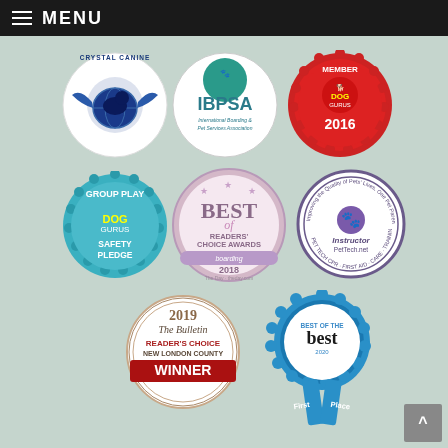MENU
[Figure (logo): Crystal Canine circular logo with winged dog and globe]
[Figure (logo): IBPSA - International Boarding & Pet Services Association circular logo]
[Figure (logo): Dog Gurus Member 2016 red bottle-cap badge]
[Figure (logo): Dog Gurus Group Play Safety Pledge teal scalloped badge]
[Figure (logo): Best of Readers Choice Awards - boarding 2018 - The Day circular badge]
[Figure (logo): PetTech.net Instructor badge - Improving the Quality of Pets Lives, One Pet Parent at a Time]
[Figure (logo): 2019 The Bulletin Reader's Choice New London County Winner badge]
[Figure (logo): Best of the Best 2020 First Place blue rosette badge]